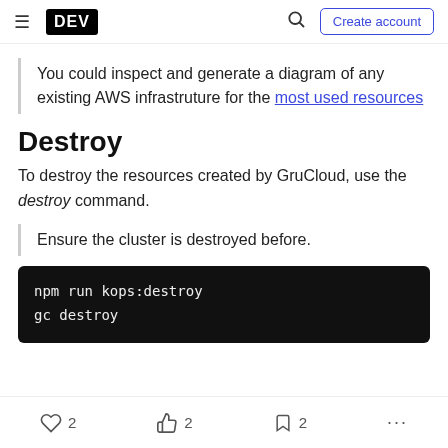DEV | Search | Create account
You could inspect and generate a diagram of any existing AWS infrastruture for the most used resources
Destroy
To destroy the resources created by GruCloud, use the destroy command.
Ensure the cluster is destroyed before.
npm run kops:destroy
gc destroy
2  2  2  ...